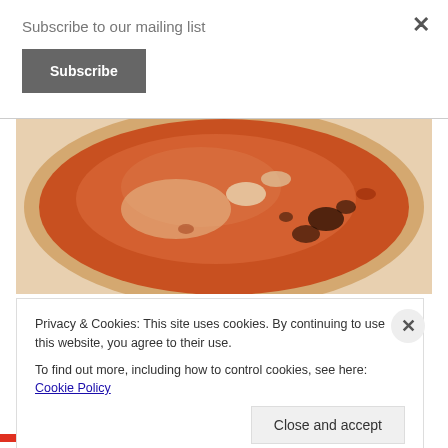Subscribe to our mailing list
Subscribe
[Figure (photo): Close-up overhead photo of buffalo chicken chili in a white bowl, showing a reddish-orange broth with pieces of chicken and black beans]
Buffalo Chicken Chili in Under 20 Minutes!
Privacy & Cookies: This site uses cookies. By continuing to use this website, you agree to their use.
To find out more, including how to control cookies, see here: Cookie Policy
Close and accept